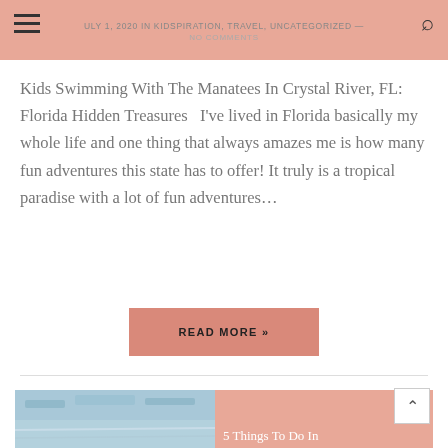JULY 1, 2020 in KIDSPIRATION, TRAVEL, UNCATEGORIZED — NO COMMENTS
Kids Swimming With The Manatees In Crystal River, FL: Florida Hidden Treasures  I've lived in Florida basically my whole life and one thing that always amazes me is how many fun adventures this state has to offer! It truly is a tropical paradise with a lot of fun adventures...
READ MORE »
[Figure (photo): Partial image of water with reflections, beginning of next article block showing '5 Things To Do In...' text on pink background]